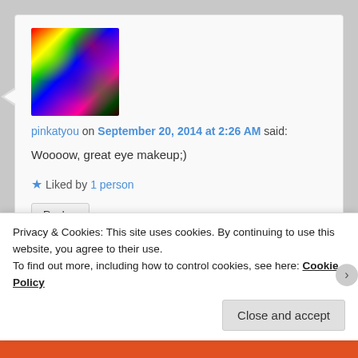[Figure (screenshot): Blog comment section screenshot showing a user comment by pinkatyou with a rainbow glitter avatar image, date September 20 2014 at 2:26 AM, comment text 'Woooow, great eye makeup;)', liked by 1 person, Reply button, and a nested reply from makeupbydenise. A cookie consent banner overlays the bottom portion.]
pinkatyou on September 20, 2014 at 2:26 AM said:
Woooow, great eye makeup;)
★ Liked by 1 person
Reply ↓
makeupbydenise
Privacy & Cookies: This site uses cookies. By continuing to use this website, you agree to their use.
To find out more, including how to control cookies, see here: Cookie Policy
Close and accept